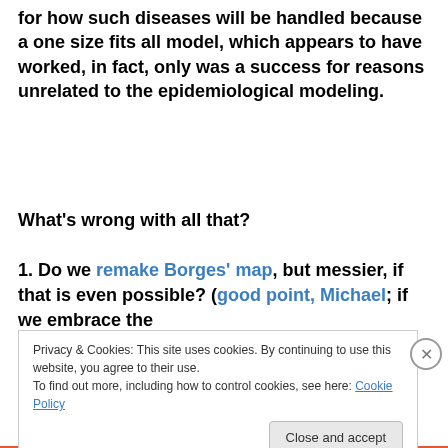for how such diseases will be handled because a one size fits all model, which appears to have worked, in fact, only was a success for reasons unrelated to the epidemiological modeling.
What's wrong with all that?
1. Do we remake Borges' map, but messier, if that is even possible? (good point, Michael; if we embrace the
Privacy & Cookies: This site uses cookies. By continuing to use this website, you agree to their use. To find out more, including how to control cookies, see here: Cookie Policy